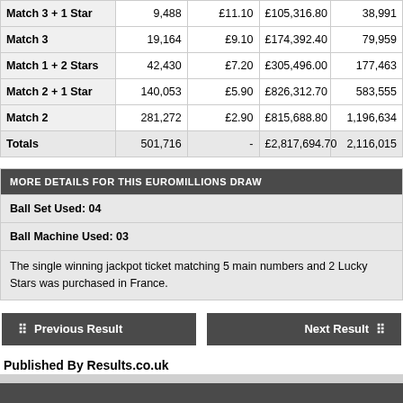| Match Type | Winners | Prize Per Winner | Total Prize Fund | UK Winners |
| --- | --- | --- | --- | --- |
| Match 3 + 1 Star | 9,488 | £11.10 | £105,316.80 | 38,991 |
| Match 3 | 19,164 | £9.10 | £174,392.40 | 79,959 |
| Match 1 + 2 Stars | 42,430 | £7.20 | £305,496.00 | 177,463 |
| Match 2 + 1 Star | 140,053 | £5.90 | £826,312.70 | 583,555 |
| Match 2 | 281,272 | £2.90 | £815,688.80 | 1,196,634 |
| Totals | 501,716 | - | £2,817,694.70 | 2,116,015 |
MORE DETAILS FOR THIS EUROMILLIONS DRAW
Ball Set Used: 04
Ball Machine Used: 03
The single winning jackpot ticket matching 5 main numbers and 2 Lucky Stars was purchased in France.
Previous Result
Next Result
Published By Results.co.uk